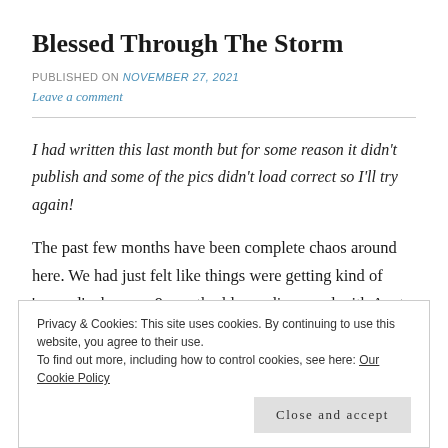Blessed Through The Storm
PUBLISHED ON November 27, 2021
Leave a comment
I had written this last month but for some reason it didn't publish and some of the pics didn't load correct so I'll try again!
The past few months have been complete chaos around here. We had just felt like things were getting kind of 'normal' when our 9 month old was diagnosed with Acute Myeloid Leukemia or AML for
Privacy & Cookies: This site uses cookies. By continuing to use this website, you agree to their use. To find out more, including how to control cookies, see here: Our Cookie Policy
Close and accept